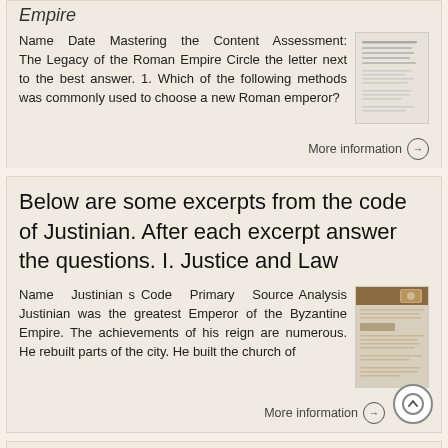Empire
Name Date Mastering the Content Assessment: The Legacy of the Roman Empire Circle the letter next to the best answer. 1. Which of the following methods was commonly used to choose a new Roman emperor?
More information →
Below are some excerpts from the code of Justinian. After each excerpt answer the questions. I. Justice and Law
Name Justinian s Code Primary Source Analysis Justinian was the greatest Emperor of the Byzantine Empire. The achievements of his reign are numerous. He rebuilt parts of the city. He built the church of
More information →